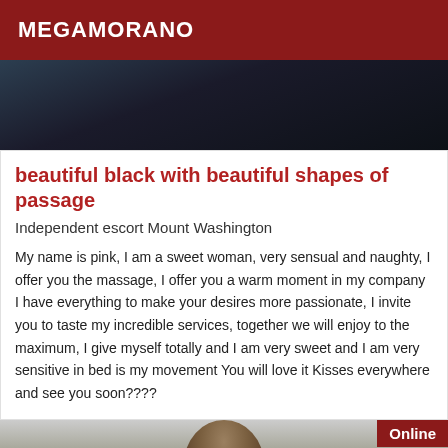MEGAMORANO
[Figure (photo): Dark background photo, top portion of listing image]
beautiful black with beautiful shapes of passage
Independent escort Mount Washington
My name is pink, I am a sweet woman, very sensual and naughty, I offer you the massage, I offer you a warm moment in my company I have everything to make your desires more passionate, I invite you to taste my incredible services, together we will enjoy to the maximum, I give myself totally and I am very sweet and I am very sensitive in bed is my movement You will love it Kisses everywhere and see you soon????
[Figure (photo): Photo of person, partially visible, with Online badge in top right corner]